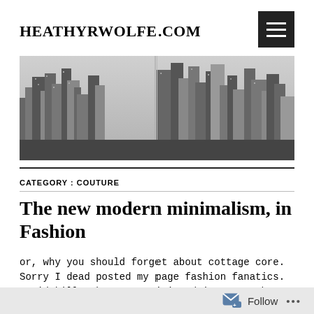HEATHYRWOLFE.COM
[Figure (photo): Black and white aerial cityscape panorama showing dense urban skyscrapers]
CATEGORY: COUTURE
The new modern minimalism, in Fashion
or, why you should forget about cottage core. Sorry I dead posted my page fashion fanatics. Covid kills the your writing drive. Now that I'm caught back up in the
Follow ...